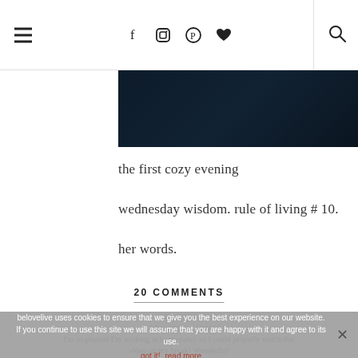Navigation header with hamburger menu, social icons (f, instagram, pinterest, heart), and search icon
[Figure (photo): Dark blue/black photograph banner, partially visible at top of content area]
the first cozy evening
wednesday wisdom. rule of living # 10.
her words.
20 COMMENTS
HOLLY
14 Dec 2015 at 10:59
I'm so pleased I'm working at home today so I could properly watch this video on my break! Wonderful!
belovelive uses cookies to ensure that we give you the best experience on our website. If you continue to use this site we will assume that you are happy with it and agree to its use.
got it!  read more